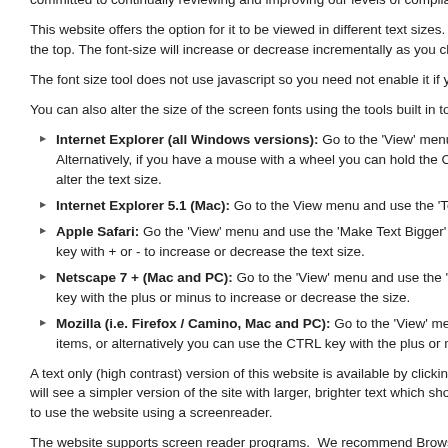accessibility by complying with or exceeding the recommendations of appropriate inc we are committed to continually reviewing and improving our levels of compliance.
This website offers the option for it to be viewed in different text sizes. Two icons allo each page at the top. The font-size will increase or decrease incrementally as you cli
The font size tool does not use javascript so you need not enable it if you want to cha
You can also alter the size of the screen fonts using the tools built in to most modern
Internet Explorer (all Windows versions): Go to the 'View' menu, 'Text Size', and select medium. Alternatively, if you have a mouse with a wheel you can hold the CTRL down with the wheel to alter the text size.
Internet Explorer 5.1 (Mac): Go to the View menu and use the 'Text Zoom' fea
Apple Safari: Go the 'View' menu and use the 'Make Text Bigger' and 'Make Te use the option key with + or - to increase or decrease the text size.
Netscape 7 + (Mac and PC): Go to the 'View' menu and use the 'Text Zoom' fe use the CTRL key with the plus or minus to increase or decrease the size.
Mozilla (i.e. Firefox / Camino, Mac and PC): Go to the 'View' menu and either Size' menu items, or alternatively you can use the CTRL key with the plus or mi
A text only (high contrast) version of this website is available by clicking the 'Text Onl page. You will see a simpler version of the site with larger, brighter text which should best option if you intend to use the website using a screenreader.
The website supports screen reader programs.  We recommend Browsealoud, an ap most modern browsers. Once installed, simply click on the logo to switch on the rea